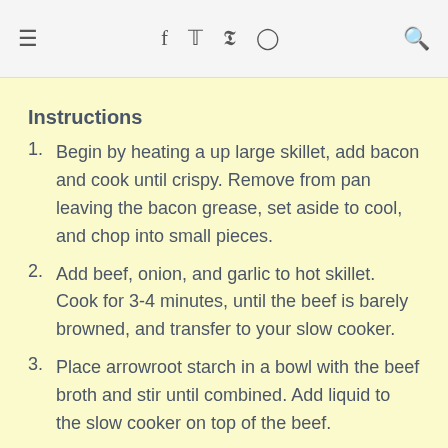≡  f  𝕥  𝗣  ⊙  🔍
Instructions
Begin by heating a up large skillet, add bacon and cook until crispy. Remove from pan leaving the bacon grease, set aside to cool, and chop into small pieces.
Add beef, onion, and garlic to hot skillet. Cook for 3-4 minutes, until the beef is barely browned, and transfer to your slow cooker.
Place arrowroot starch in a bowl with the beef broth and stir until combined. Add liquid to the slow cooker on top of the beef.